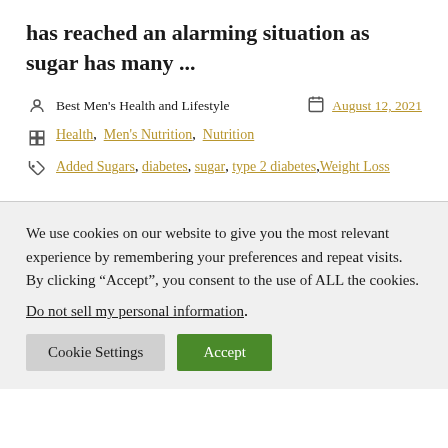has reached an alarming situation as sugar has many ...
Best Men's Health and Lifestyle   August 12, 2021
Health, Men's Nutrition, Nutrition
Added Sugars, diabetes, sugar, type 2 diabetes, Weight Loss
We use cookies on our website to give you the most relevant experience by remembering your preferences and repeat visits. By clicking “Accept”, you consent to the use of ALL the cookies. Do not sell my personal information.